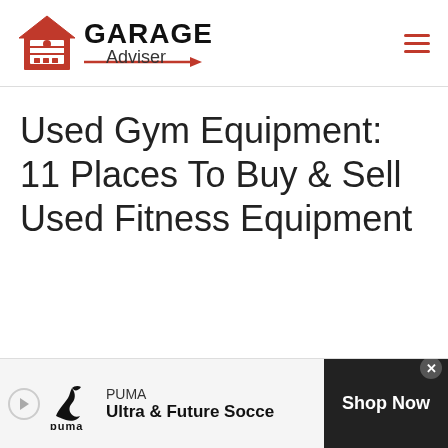[Figure (logo): Garage Adviser logo with red garage icon, bold GARAGE text, arrow and Adviser text]
Used Gym Equipment: 11 Places To Buy & Sell Used Fitness Equipment
[Figure (infographic): PUMA advertisement banner: Play icon, Puma logo, PUMA Ultra & Future Soccer text, Shop Now button]